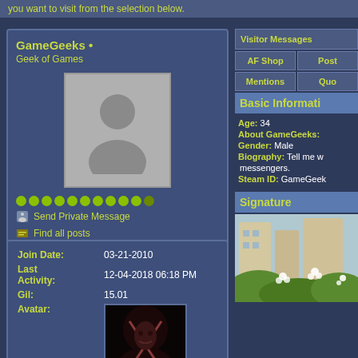you want to visit from the selection below.
GameGeeks • Geek of Games
[Figure (illustration): Default avatar placeholder with silhouette of a person on gray background]
Send Private Message
Find all posts
Find all started threads
View Blog Entries
| Field | Value |
| --- | --- |
| Join Date: | 03-21-2010 |
| Last Activity: | 12-04-2018 06:18 PM |
| Gil: | 15.01 |
| Avatar: | [image] |
Visitor Messages
AF Shop
Posts
Mentions
Quotes
Basic Information
Age: 34
About GameGeeks:
Gender: Male
Biography: Tell me w... messengers.
Steam ID: GameGeek...
Signature
[Figure (illustration): Anime-style signature image with buildings and white flowers on green foliage background]